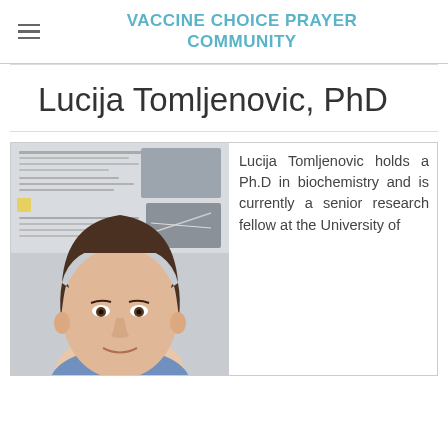VACCINE CHOICE PRAYER COMMUNITY
Lucija Tomljenovic, PhD
[Figure (photo): Photo of Lucija Tomljenovic, a woman with dark hair, smiling, standing in front of a scientific poster display in a research setting.]
Lucija Tomljenovic holds a Ph.D in biochemistry and is currently a senior research fellow at the University of